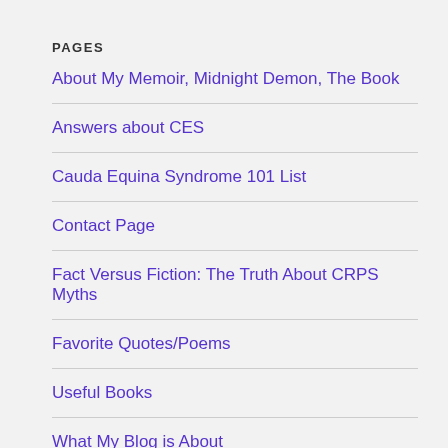PAGES
About My Memoir, Midnight Demon, The Book
Answers about CES
Cauda Equina Syndrome 101 List
Contact Page
Fact Versus Fiction: The Truth About CRPS Myths
Favorite Quotes/Poems
Useful Books
What My Blog is About